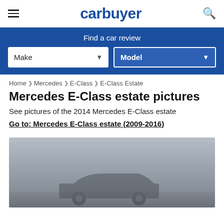carbuyer
Find a car review
Make | Model
Home › Mercedes › E-Class › E-Class Estate
Mercedes E-Class estate pictures
See pictures of the 2014 Mercedes E-Class estate
Go to: Mercedes E-Class estate (2009-2016)
[Figure (photo): Grey/overcast outdoor photo showing the rear/side of a Mercedes E-Class estate car, partially visible at bottom of frame]